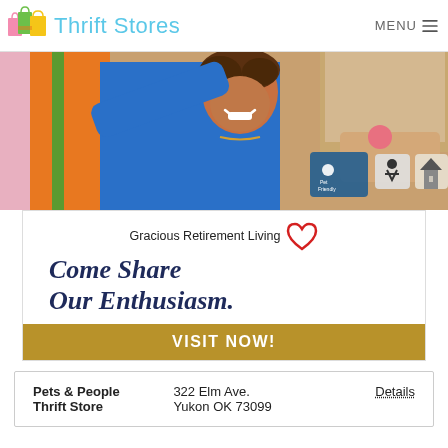Thrift Stores | MENU
[Figure (photo): Banner photo of a smiling woman in a blue uniform reaching toward colorful hanging items in a thrift/retirement store. Icons for Pet Friendly, accessibility, and home visible in lower right.]
[Figure (infographic): Gracious Retirement Living advertisement with heart logo, italic headline 'Come Share Our Enthusiasm.' and gold 'VISIT NOW!' call-to-action banner.]
| Store Name | Address | Action |
| --- | --- | --- |
| Pets & People Thrift Store | 322 Elm Ave. Yukon OK 73099 | Details |